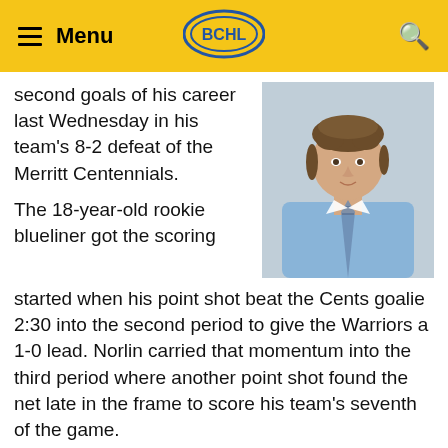Menu | BCHL | Search
second goals of his career last Wednesday in his team's 8-2 defeat of the Merritt Centennials.
[Figure (photo): Young male hockey player in a blue dress shirt and plaid tie, light background, portrait style photo]
The 18-year-old rookie blueliner got the scoring started when his point shot beat the Cents goalie 2:30 into the second period to give the Warriors a 1-0 lead. Norlin carried that momentum into the third period where another point shot found the net late in the frame to score his team's seventh of the game.
Norlin now has two goals and seven helpers for nine points in 24 games this season.
+++